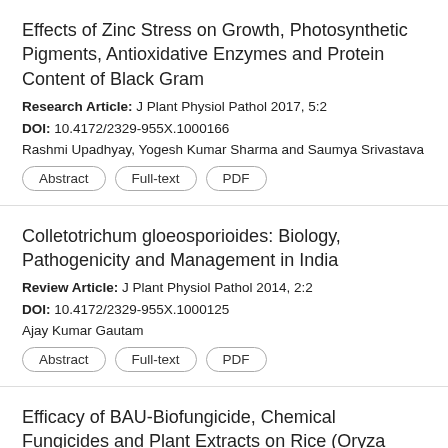Effects of Zinc Stress on Growth, Photosynthetic Pigments, Antioxidative Enzymes and Protein Content of Black Gram
Research Article: J Plant Physiol Pathol 2017, 5:2
DOI: 10.4172/2329-955X.1000166
Rashmi Upadhyay, Yogesh Kumar Sharma and Saumya Srivastava
Abstract | Full-text | PDF
Colletotrichum gloeosporioides: Biology, Pathogenicity and Management in India
Review Article: J Plant Physiol Pathol 2014, 2:2
DOI: 10.4172/2329-955X.1000125
Ajay Kumar Gautam
Abstract | Full-text | PDF
Efficacy of BAU-Biofungicide, Chemical Fungicides and Plant Extracts on Rice (Oryza sativa L.) Diseases and Yield